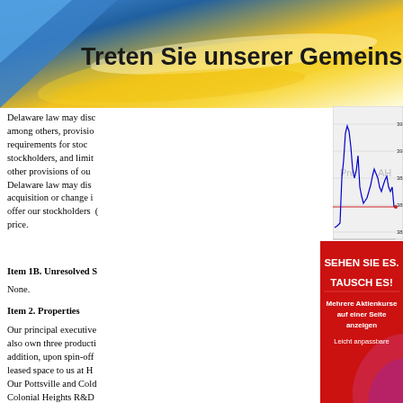[Figure (other): Top banner with blue and gold gradient background and German text 'Treten Sie unserer Gemeinschaft bei']
Delaware law may discourage, among others, provisions imposing requirements for stockholder approval, stockholders, and limiting other provisions of our charter. Delaware law may discourage acquisition or change in control offer our stockholders the premium price.
[Figure (continuous-plot): Stock price chart showing intraday trading with Pre and AH (after hours) labels, price range approximately 38.4 to 39.2, time axis showing 1500, 1800, 2100, 0000. Blue line chart with red horizontal reference line. Source: (c) www.advfn.com]
Item 1B. Unresolved Staff Comments
None.
Item 2. Properties
Our principal executive offices also own three production facilities. In addition, upon spin-off leased space to us at H. Our Pottsville and Colonial Heights R&D configuration of our lab
[Figure (other): Red advertisement banner with German text: 'SEHEN SIE ES. TAUSCH ES!' and 'Mehrere Aktienkurse auf einer Seite anzeigen' and 'Leicht anpassbare']